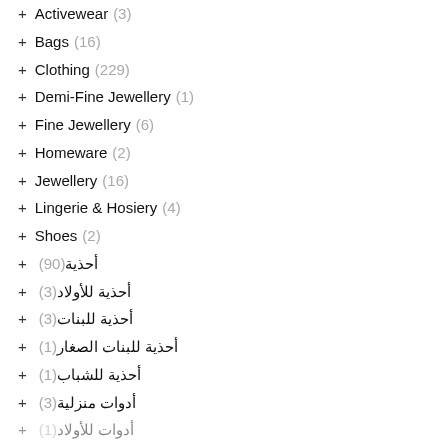+ Activewear (3)
+ Bags (16)
+ Clothing (229)
+ Demi-Fine Jewellery (1)
+ Fine Jewellery (6)
+ Homeware (2)
+ Jewellery (16)
+ Lingerie & Hosiery (4)
+ Shoes (2)
+ أحذية (90)
+ أحذية للأولاد (3)
+ أحذية للبنات (3)
+ أحذية للبنات الصغار (1)
+ أحذية للشباب (1)
+ أدوات منزلية (3)
+ أدوات للأولاد (1)